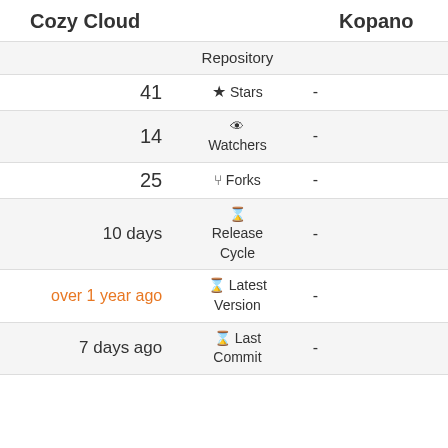| Cozy Cloud |  | Kopano |
| --- | --- | --- |
|  | Repository |  |
| 41 | ★ Stars | - |
| 14 | 👁 Watchers | - |
| 25 | ⑂ Forks | - |
| 10 days | 🕐 Release Cycle | - |
| over 1 year ago | 🕐 Latest Version | - |
| 7 days ago | 🕐 Last Commit | - |